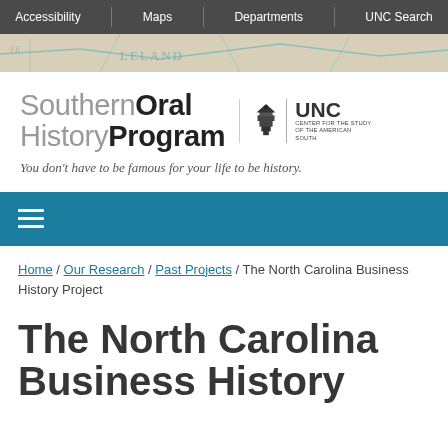Accessibility | Maps | Departments | UNC Search
[Figure (map): Partial antique map with teal/blue ink showing place names including LELAND, used as decorative banner]
[Figure (logo): Southern Oral History Program wordmark with UNC Center for the Study of the American South logo]
You don't have to be famous for your life to be history.
Navigation menu (hamburger icon) on teal blue bar
Home / Our Research / Past Projects / The North Carolina Business History Project
The North Carolina Business History